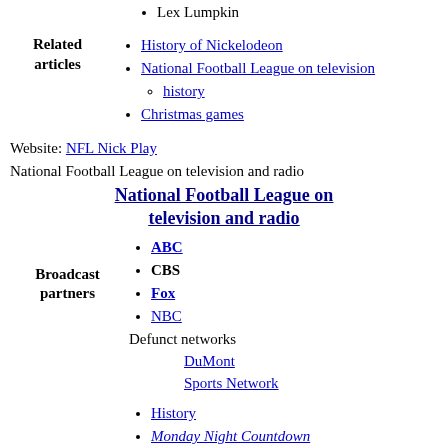Lex Lumpkin
History of Nickelodeon
National Football League on television history
Christmas games
Website: NFL Nick Play
National Football League on television and radio
National Football League on television and radio
ABC
CBS
Fox
NBC
Defunct networks
DuMont
Sports Network
History
Monday Night Countdown
Monday Night Results